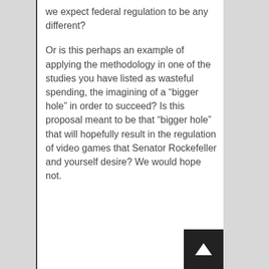we expect federal regulation to be any different?

Or is this perhaps an example of applying the methodology in one of the studies you have listed as wasteful spending, the imagining of a “bigger hole” in order to succeed? Is this proposal meant to be that “bigger hole” that will hopefully result in the regulation of video games that Senator Rockefeller and yourself desire? We would hope not.